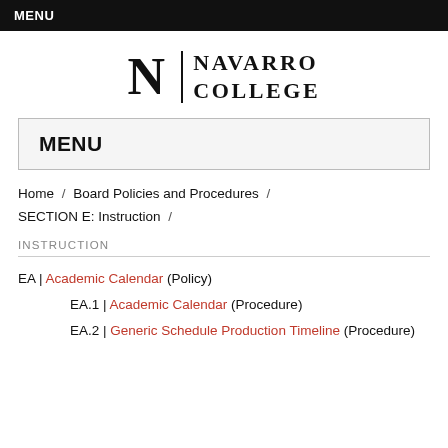MENU
[Figure (logo): Navarro College logo with large N and text NAVARRO COLLEGE]
MENU
Home / Board Policies and Procedures / SECTION E: Instruction /
INSTRUCTION
EA | Academic Calendar (Policy)
EA.1 | Academic Calendar (Procedure)
EA.2 | Generic Schedule Production Timeline (Procedure)